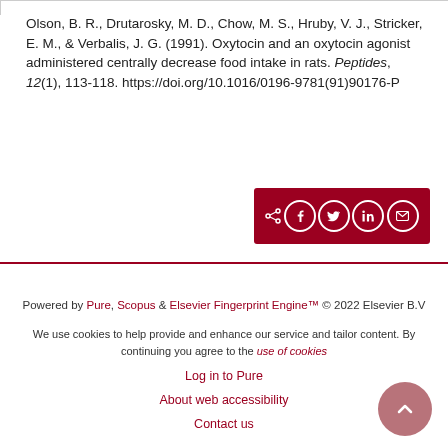Olson, B. R., Drutarosky, M. D., Chow, M. S., Hruby, V. J., Stricker, E. M., & Verbalis, J. G. (1991). Oxytocin and an oxytocin agonist administered centrally decrease food intake in rats. Peptides, 12(1), 113-118. https://doi.org/10.1016/0196-9781(91)90176-P
[Figure (infographic): Dark red share bar with share arrow icon and social media icons: Facebook, Twitter, LinkedIn, Email]
Powered by Pure, Scopus & Elsevier Fingerprint Engine™ © 2022 Elsevier B.V

We use cookies to help provide and enhance our service and tailor content. By continuing you agree to the use of cookies

Log in to Pure

About web accessibility

Contact us